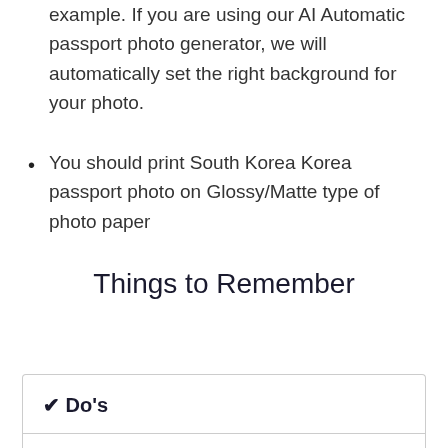example. If you are using our AI Automatic passport photo generator, we will automatically set the right background for your photo.
You should print South Korea Korea passport photo on Glossy/Matte type of photo paper
Things to Remember
✔ Do's